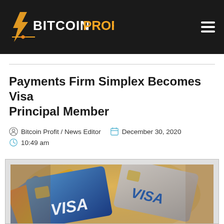Bitcoin Profit
Payments Firm Simplex Becomes Visa Principal Member
Bitcoin Profit / News Editor   December 30, 2020
10:49 am
[Figure (photo): Close-up photo of multiple Visa credit/debit cards fanned out, showing the Visa logo prominently]